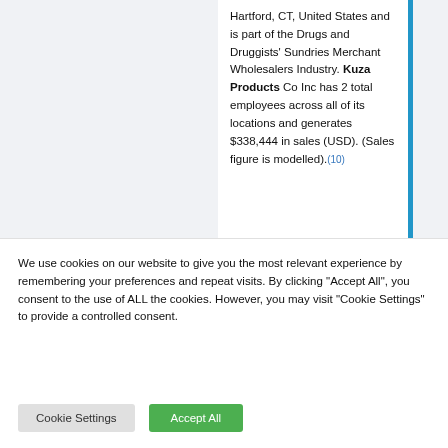Hartford, CT, United States and is part of the Drugs and Druggists' Sundries Merchant Wholesalers Industry. Kuza Products Co Inc has 2 total employees across all of its locations and generates $338,444 in sales (USD). (Sales figure is modelled).(10)
Reviews | Kuza Hair
We use cookies on our website to give you the most relevant experience by remembering your preferences and repeat visits. By clicking "Accept All", you consent to the use of ALL the cookies. However, you may visit "Cookie Settings" to provide a controlled consent.